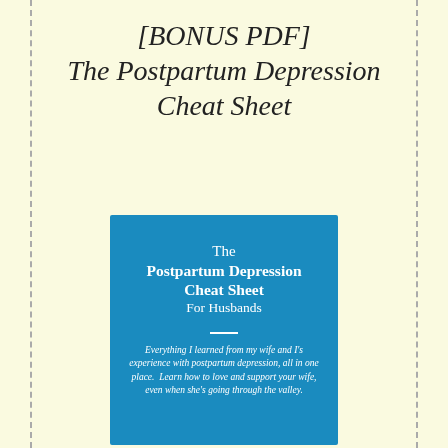[BONUS PDF] The Postpartum Depression Cheat Sheet
[Figure (illustration): Book cover with blue background showing title 'The Postpartum Depression Cheat Sheet For Husbands' and subtitle text 'Everything I learned from my wife and I's experience with postpartum depression, all in one place. Learn how to love and support your wife, even when she's going through the valley.']